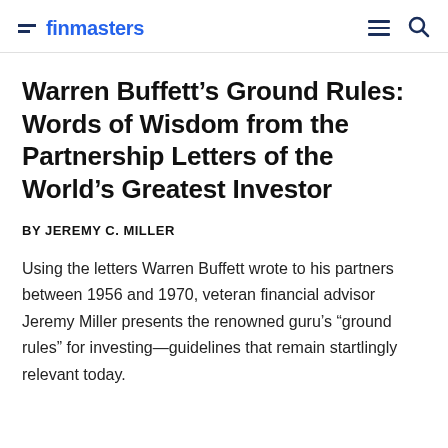finmasters
Warren Buffett's Ground Rules: Words of Wisdom from the Partnership Letters of the World's Greatest Investor
BY JEREMY C. MILLER
Using the letters Warren Buffett wrote to his partners between 1956 and 1970, veteran financial advisor Jeremy Miller presents the renowned guru's “ground rules” for investing—guidelines that remain startlingly relevant today.